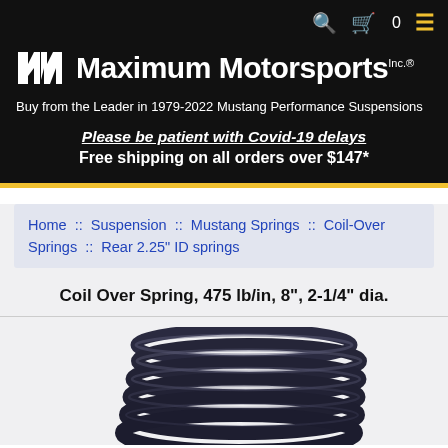[Figure (logo): Maximum Motorsports Inc. logo with stylized M icon and company name in white on black background. Search, cart (0), and menu icons in yellow at top right.]
Buy from the Leader in 1979-2022 Mustang Performance Suspensions
Please be patient with Covid-19 delays
Free shipping on all orders over $147*
Home :: Suspension :: Mustang Springs :: Coil-Over Springs :: Rear 2.25" ID springs
Coil Over Spring, 475 lb/in, 8", 2-1/4" dia.
[Figure (photo): Photo of a dark metallic coil-over spring, coiled tightly, shown on white/light gray background, partially cropped at bottom of page.]